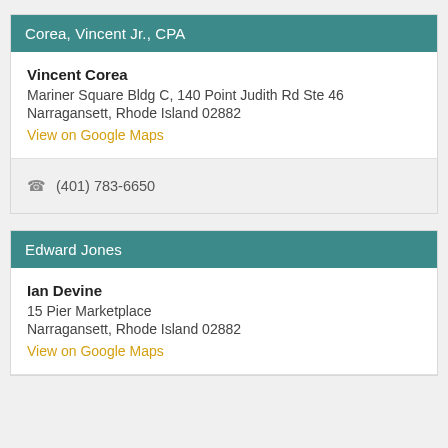Corea, Vincent Jr., CPA
Vincent Corea
Mariner Square Bldg C, 140 Point Judith Rd Ste 46
Narragansett, Rhode Island 02882
View on Google Maps
☎ (401) 783-6650
Edward Jones
Ian Devine
15 Pier Marketplace
Narragansett, Rhode Island 02882
View on Google Maps